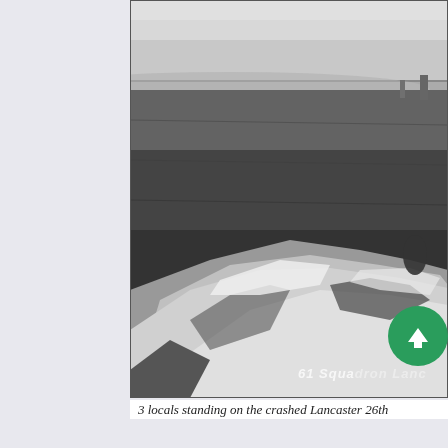[Figure (photo): Black and white historical photograph showing crashed Lancaster bomber wreckage in a field. The foreground shows crumpled white metal debris and wreckage. The background shows an open field with hills visible on the horizon. Text watermark reads '61 Squadron Lanc' partially visible in lower right corner. A green circular badge/logo overlaps the lower right corner.]
3 locals standing on the crashed Lancaster 26th